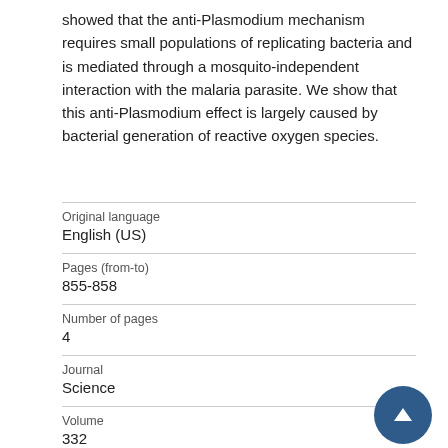showed that the anti-Plasmodium mechanism requires small populations of replicating bacteria and is mediated through a mosquito-independent interaction with the malaria parasite. We show that this anti-Plasmodium effect is largely caused by bacterial generation of reactive oxygen species.
| Original language | English (US) |
| Pages (from-to) | 855-858 |
| Number of pages | 4 |
| Journal | Science |
| Volume | 332 |
| Issue number |  |